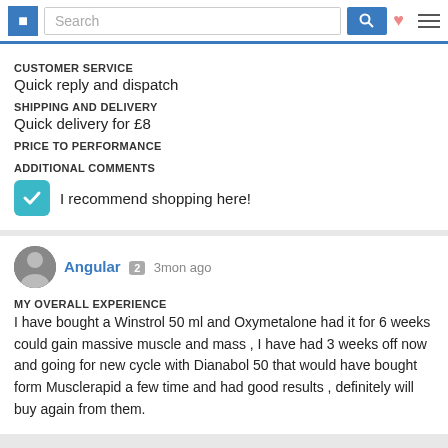[Figure (screenshot): Website navigation bar with logo, search box, search button, heart icon, and hamburger menu]
CUSTOMER SERVICE
Quick reply and dispatch
SHIPPING AND DELIVERY
Quick delivery for £8
PRICE TO PERFORMANCE
ADDITIONAL COMMENTS
I recommend shopping here!
Angular 2  3mon ago
MY OVERALL EXPERIENCE
I have bought a Winstrol 50 ml and Oxymetalone had it for 6 weeks could gain massive muscle and mass , I have had 3 weeks off now and going for new cycle with Dianabol 50 that would have bought form Musclerapid a few time and had good results , definitely will buy again from them.